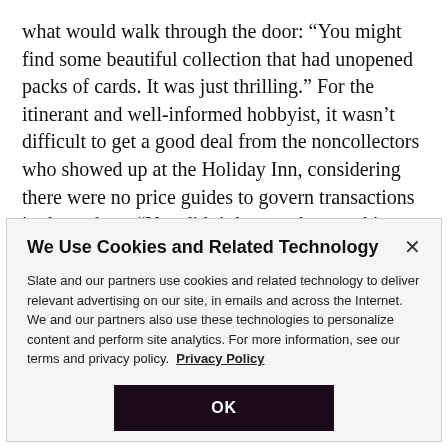what would walk through the door: “You might find some beautiful collection that had unopened packs of cards. It was just thrilling.” For the itinerant and well-informed hobbyist, it wasn’t difficult to get a good deal from the noncollectors who showed up at the Holiday Inn, considering there were no price guides to govern transactions in those days. “You didn’t know what anything was worth,” explains Miller.
We Use Cookies and Related Technology
Slate and our partners use cookies and related technology to deliver relevant advertising on our site, in emails and across the Internet. We and our partners also use these technologies to personalize content and perform site analytics. For more information, see our terms and privacy policy. Privacy Policy